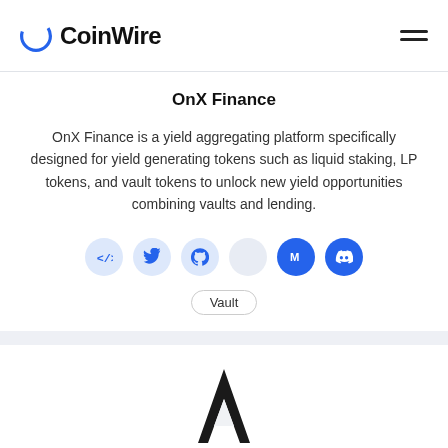CoinWire
OnX Finance
OnX Finance is a yield aggregating platform specifically designed for yield generating tokens such as liquid staking, LP tokens, and vault tokens to unlock new yield opportunities combining vaults and lending.
[Figure (infographic): Row of 6 social/link icon circles: code tag, Twitter bird, GitHub octocat, a blank/light circle, Medium M, Discord logo — all on blue or light background circles]
Vault
[Figure (logo): Spartacus DAO logo: a stylized black A/lambda shape resembling a spartan helmet crest or letter A with angular legs]
Spartacus DAO